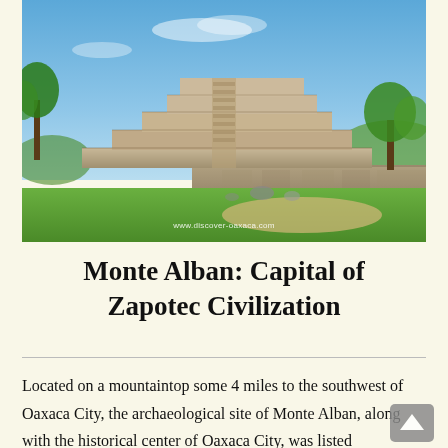[Figure (photo): Photograph of Monte Alban archaeological site showing a large stepped stone pyramid structure under blue sky, with green grass in the foreground and trees on the right. Watermark reads www.discover-oaxaca.com]
Monte Alban: Capital of Zapotec Civilization
Located on a mountaintop some 4 miles to the southwest of Oaxaca City, the archaeological site of Monte Alban, along with the historical center of Oaxaca City, was listed